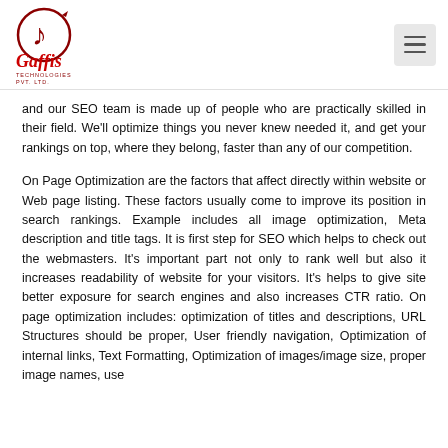[Figure (logo): Gaffis Technologies Pvt. Ltd. logo with musical note icon in dark red/maroon and company name in red serif font]
and our SEO team is made up of people who are practically skilled in their field. We'll optimize things you never knew needed it, and get your rankings on top, where they belong, faster than any of our competition.
On Page Optimization are the factors that affect directly within website or Web page listing. These factors usually come to improve its position in search rankings. Example includes all image optimization, Meta description and title tags. It is first step for SEO which helps to check out the webmasters. It's important part not only to rank well but also it increases readability of website for your visitors. It's helps to give site better exposure for search engines and also increases CTR ratio. On page optimization includes: optimization of titles and descriptions, URL Structures should be proper, User friendly navigation, Optimization of internal links, Text Formatting, Optimization of images/image size, proper image names, use